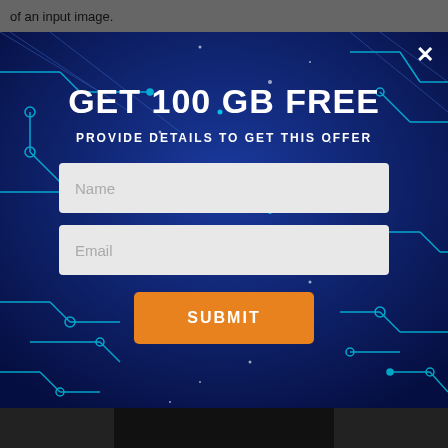of an input image.
[Figure (screenshot): A promotional popup modal with a dark blue circuit-board background, offering 100 GB free cloud storage. Contains a close button (×), headline 'GET 100 GB FREE', subheadline 'PROVIDE DETAILS TO GET THIS OFFER', two form fields (Name, Email), and an orange SUBMIT button.]
GET 100 GB FREE
PROVIDE DETAILS TO GET THIS OFFER
Name
Email
SUBMIT